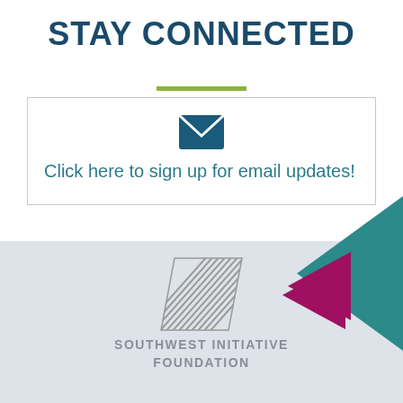STAY CONNECTED
[Figure (infographic): Bordered box with email envelope icon and text 'Click here to sign up for email updates!']
[Figure (illustration): Two decorative triangles: one teal (large, right edge) and one magenta (smaller, overlapping teal), pointing right]
[Figure (logo): Southwest Initiative Foundation logo: diagonal hatched parallelogram shape in gray above the organization name text]
SOUTHWEST INITIATIVE FOUNDATION